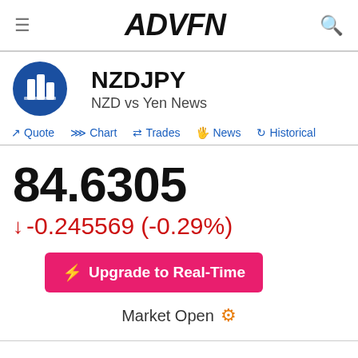ADVFN
NZDJPY
NZD vs Yen News
Quote  Chart  Trades  News  Historical
84.6305
-0.245569 (-0.29%)
Upgrade to Real-Time
Market Open